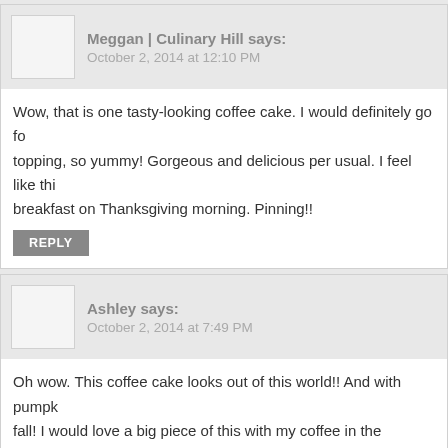Meggan | Culinary Hill says: October 2, 2014 at 12:10 PM
Wow, that is one tasty-looking coffee cake. I would definitely go for the topping, so yummy! Gorgeous and delicious per usual. I feel like this would be perfect for breakfast on Thanksgiving morning. Pinning!!
REPLY
Ashley says: October 2, 2014 at 7:49 PM
Oh wow. This coffee cake looks out of this world!! And with pumpk... fall! I would love a big piece of this with my coffee in the morning!
REPLY
Natalie @ Tastes Lovely says: October 3, 2014 at 12:22 AM